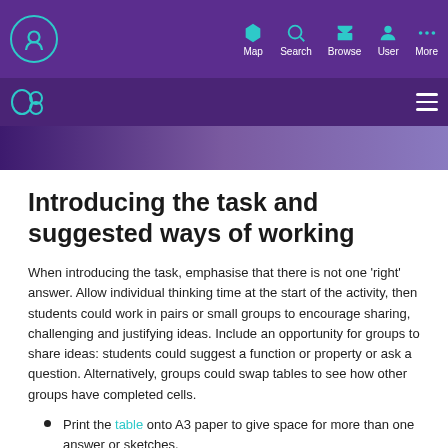Map Search Browse User More
[Figure (screenshot): Website navigation bar with purple background, teal icons for Map, Search, Browse, User, More, and a secondary nav bar with hamburger menu. Below is a purple hero image banner.]
Introducing the task and suggested ways of working
When introducing the task, emphasise that there is not one 'right' answer. Allow individual thinking time at the start of the activity, then students could work in pairs or small groups to encourage sharing, challenging and justifying ideas. Include an opportunity for groups to share ideas: students could suggest a function or property or ask a question. Alternatively, groups could swap tables to see how other groups have completed cells.
Print the table onto A3 paper to give space for more than one answer or sketches.
Students should try to think of example functions